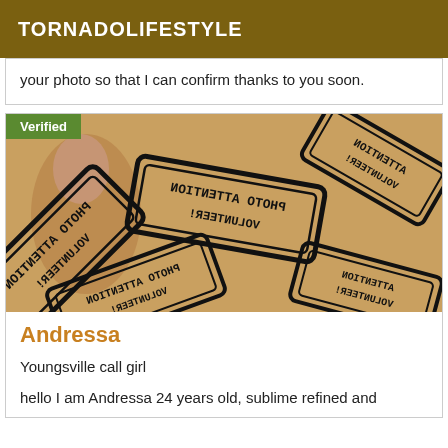TORNADOLIFESTYLE
your photo so that I can confirm thanks to you soon.
[Figure (photo): A photo of a woman partially visible behind multiple overlapping warning/attention stamps that read 'PHOTO ATTENTION VOLUNTEER!' in mirrored/rotated arrangement. A green 'Verified' badge overlays the top-left corner.]
Andressa
Youngsville call girl
hello I am Andressa 24 years old, sublime refined and